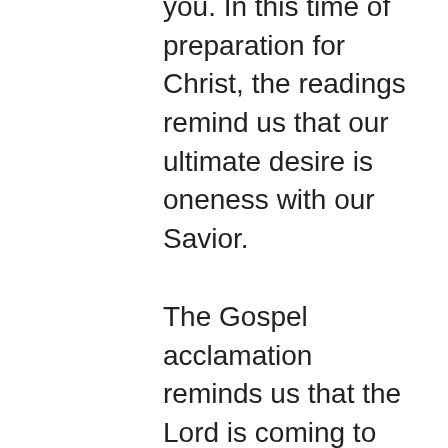you. In this time of preparation for Christ, the readings remind us that our ultimate desire is oneness with our Savior.
The Gospel acclamation reminds us that the Lord is coming to redeem man, but we must be prepared for His coming. In the same way that the people in the crowd followed Christ along the Sea of Galilee, so too should we follow Christ. In the Gospel, Christ shows the crowd (and us) how much he loves us and how well he cares for us. He understands